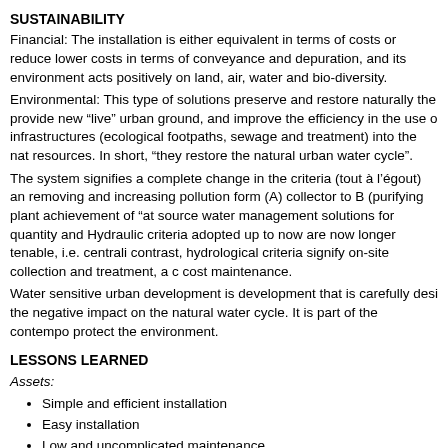SUSTAINABILITY
Financial: The installation is either equivalent in terms of costs or reduce lower costs in terms of conveyance and depuration, and its environment acts positively on land, air, water and bio-diversity.
Environmental: This type of solutions preserve and restore naturally the provide new “live” urban ground, and improve the efficiency in the use o infrastructures (ecological footpaths, sewage and treatment) into the nat resources. In short, “they restore the natural urban water cycle”.
The system signifies a complete change in the criteria (tout à l’égout) an removing and increasing pollution form (A) collector to B (purifying plant achievement of “at source water management solutions for quantity and Hydraulic criteria adopted up to now are now longer tenable, i.e. centrali contrast, hydrological criteria signify on-site collection and treatment, a c cost maintenance.
Water sensitive urban development is development that is carefully desi the negative impact on the natural water cycle. It is part of the contempo protect the environment.
LESSONS LEARNED
Assets:
Simple and efficient installation
Easy installation
Low and uncomplicated maintenance
Easy adaptation to the existing infrastructure
High water quality, on-site consumption
Lower water demand in the maintenance of parks and gardens
Higher efficiency in land use